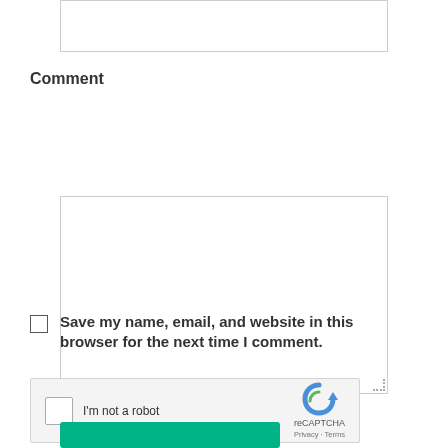[Figure (screenshot): Empty text input field with light gray border at top of page]
Comment
[Figure (screenshot): Empty textarea/comment input box with light gray border and resize handle in bottom-right corner]
Save my name, email, and website in this browser for the next time I comment.
[Figure (screenshot): reCAPTCHA widget with checkbox labeled 'I'm not a robot' and reCAPTCHA logo with Privacy and Terms links]
[Figure (screenshot): Green submit button at bottom of page]